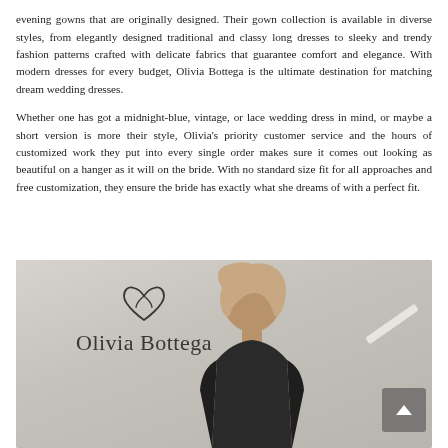evening gowns that are originally designed. Their gown collection is available in diverse styles, from elegantly designed traditional and classy long dresses to sleeky and trendy fashion patterns crafted with delicate fabrics that guarantee comfort and elegance. With modern dresses for every budget, Olivia Bottega is the ultimate destination for matching dream wedding dresses.

Whether one has got a midnight-blue, vintage, or lace wedding dress in mind, or maybe a short version is more their style, Olivia's priority customer service and the hours of customized work they put into every single order makes sure it comes out looking as beautiful on a hanger as it will on the bride. With no standard size fit for all approaches and free customization, they ensure the bride has exactly what she dreams of with a perfect fit.
[Figure (photo): A woman smiling in front of the Olivia Bottega store sign. The store has a beige/grey interior background with the Olivia Bottega logo (a heart-shaped leaf icon above the text). A scroll-to-top button is visible in the bottom right corner.]